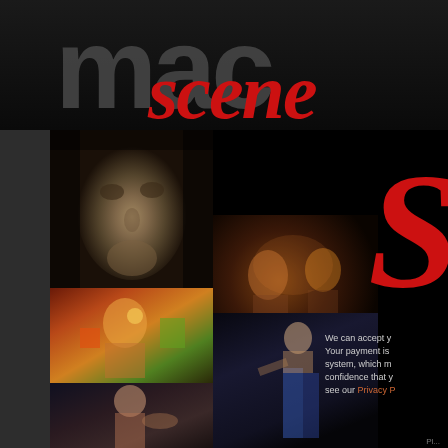[Figure (illustration): Website header with large grey 'mac' logo text and red italic 'scene' text on dark background]
[Figure (photo): Collage of theatre/performance photos: stone face mask, colorful clown performer, dark stage performers, shirtless dancer, glowing face, dancer in blue]
S (decorative red italic script letter, partial)
We can accept y... Your payment is ... system, which m... confidence that y... see our Privacy P...